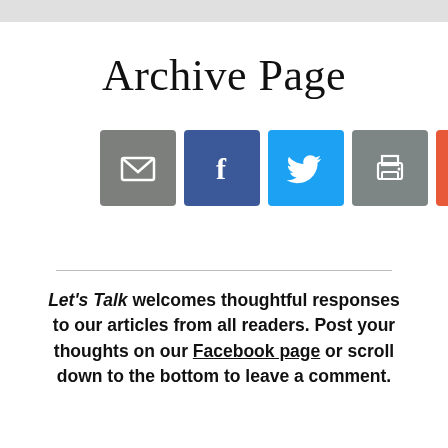Archive Page
[Figure (infographic): Five social sharing icon buttons: email (grey), Facebook (dark blue), Twitter (light blue), print (grey), and plus/add (orange-red)]
Let's Talk welcomes thoughtful responses to our articles from all readers. Post your thoughts on our Facebook page or scroll down to the bottom to leave a comment.